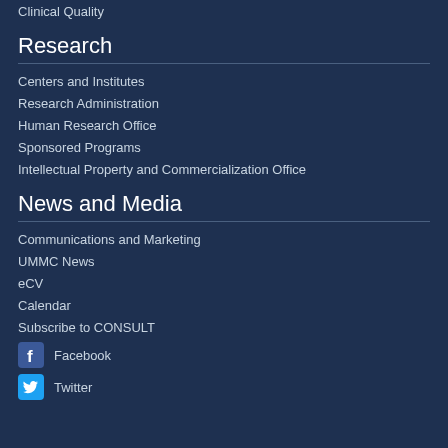Clinical Quality
Research
Centers and Institutes
Research Administration
Human Research Office
Sponsored Programs
Intellectual Property and Commercialization Office
News and Media
Communications and Marketing
UMMC News
eCV
Calendar
Subscribe to CONSULT
Facebook
Twitter